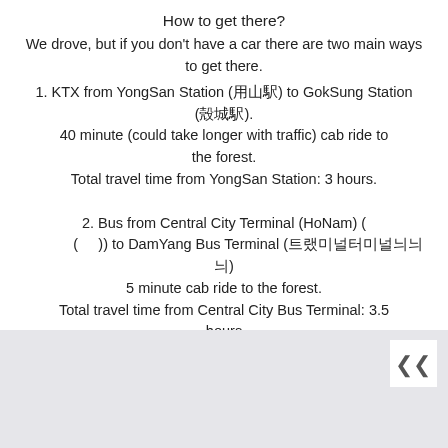How to get there?
We drove, but if you don't have a car there are two main ways to get there.
1. KTX from YongSan Station (용산역) to GokSung Station (곡성역). 40 minute (could take longer with traffic) cab ride to the forest. Total travel time from YongSan Station: 3 hours.
2. Bus from Central City Terminal (HoNam) (호남고속버스터미널 (서울)) to DamYang Bus Terminal (담양종합버스터미널) 5 minute cab ride to the forest. Total travel time from Central City Bus Terminal: 3.5 hours
[Figure (map): Partial map view with a scroll-up button in the top-right corner]